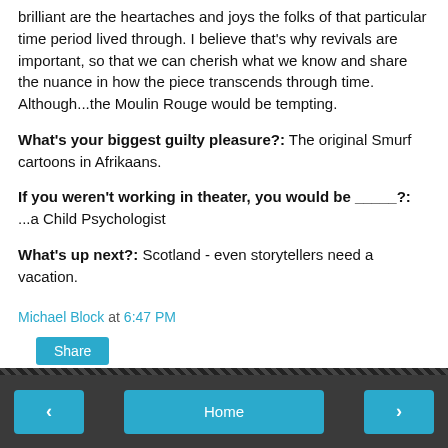brilliant are the heartaches and joys the folks of that particular time period lived through. I believe that's why revivals are important, so that we can cherish what we know and share the nuance in how the piece transcends through time. Although...the Moulin Rouge would be tempting.
What's your biggest guilty pleasure?: The original Smurf cartoons in Afrikaans.
If you weren't working in theater, you would be _____?: ...a Child Psychologist
What's up next?: Scotland - even storytellers need a vacation.
Michael Block at 6:47 PM
Share
< Home >